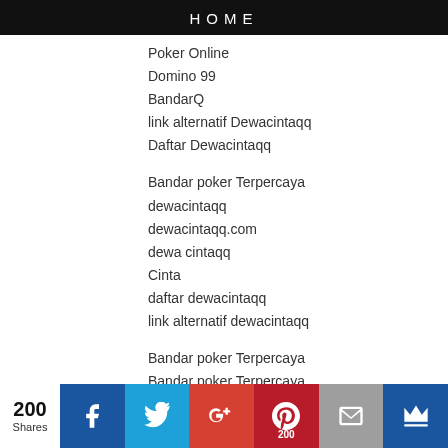HOME
Poker Online
Domino 99
BandarQ
link alternatif Dewacintaqq
Daftar Dewacintaqq
Bandar poker Terpercaya
dewacintaqq
dewacintaqq.com
dewa cintaqq
Cinta
daftar dewacintaqq
link alternatif dewacintaqq
Bandar poker Terpercaya
Bandar poker Terpercaya
SITUS TOGEL ONLINE
Situs Togel Hongkong
Situs Togel Singapore
200 Shares | Facebook | Twitter | Google+ | Pinterest 200 | Email | Crown